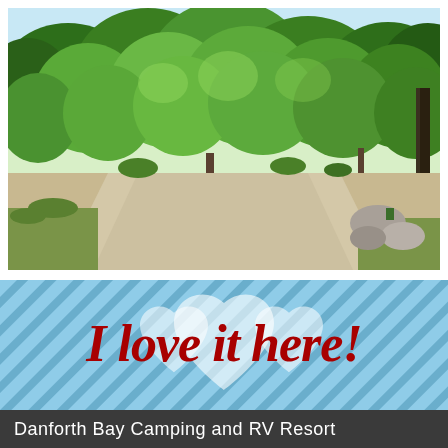[Figure (photo): Outdoor photo of a campground with a gravel road/clearing in the foreground and dense green trees in the background on a sunny day. Rocks are visible on the right side.]
[Figure (infographic): Blue diagonal striped banner with three overlapping white heart shapes in the center. Red italic cursive text reads 'I love it here!' overlaid on the hearts and banner.]
Danforth Bay Camping and RV Resort